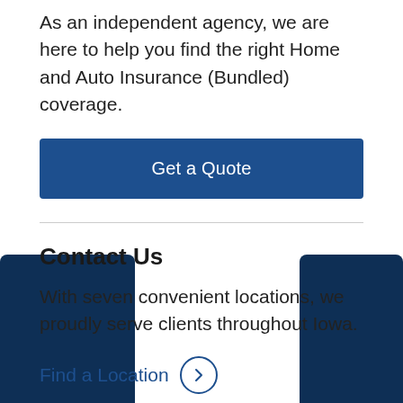As an independent agency, we are here to help you find the right Home and Auto Insurance (Bundled) coverage.
[Figure (other): Dark blue button labeled 'Get a Quote']
Contact Us
With seven convenient locations, we proudly serve clients throughout Iowa.
Find a Location →